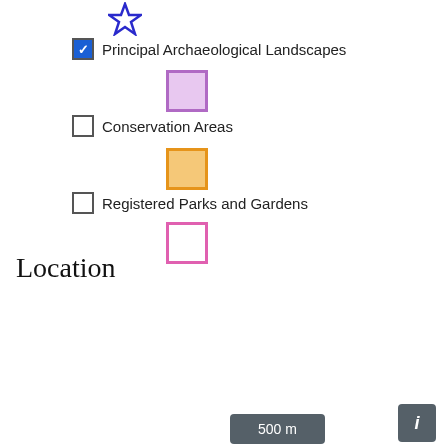[Figure (other): Blue star icon for map legend]
✓ Principal Archaeological Landscapes
[Figure (other): Purple square swatch for Principal Archaeological Landscapes legend]
Conservation Areas (unchecked)
[Figure (other): Orange square swatch for Conservation Areas legend]
Registered Parks and Gardens (unchecked)
[Figure (other): Pink outline square swatch for Registered Parks and Gardens legend]
[Figure (other): Scale bar showing 500 m and info button]
Location
| Field | Value |
| --- | --- |
| Grid reference | Centred SS 8528 3838 (12m by 20m) |
| Map sheet | SS83NE |
| Civil Parish | EXFORD, WEST SOMERSET, SOMERSET |